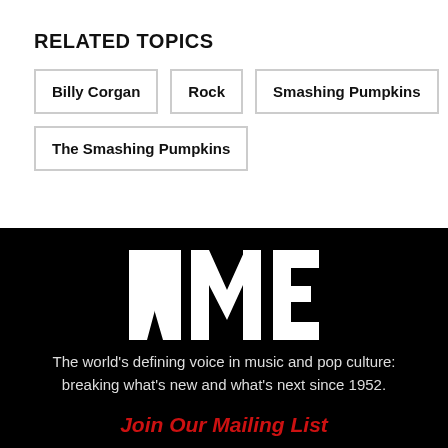RELATED TOPICS
Billy Corgan
Rock
Smashing Pumpkins
The Smashing Pumpkins
[Figure (logo): NME logo in white bold block letters on black background]
The world’s defining voice in music and pop culture: breaking what’s new and what’s next since 1952.
Join Our Mailing List